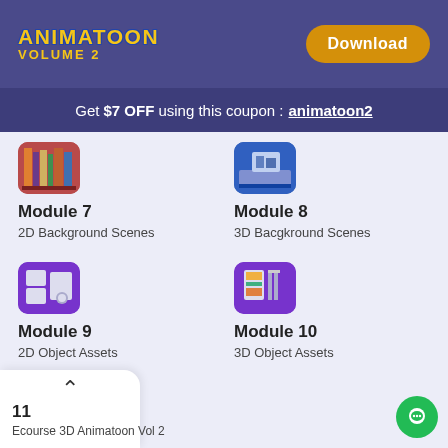[Figure (logo): Animatoon Volume 2 logo in yellow on dark purple background]
Get $7 OFF using this coupon : animatoon2
[Figure (illustration): Module 7 icon - 2D bookshelf]
Module 7
2D Background Scenes
[Figure (illustration): Module 8 icon - 3D desk scene]
Module 8
3D Bacgkround Scenes
[Figure (illustration): Module 9 icon - purple with computer and clock]
Module 9
2D Object Assets
[Figure (illustration): Module 10 icon - purple with easel and shelves]
Module 10
3D Object Assets
[Figure (illustration): Module 11 icon - blue/green thumbnail partially visible]
11
Ecourse 3D Animatoon Vol 2